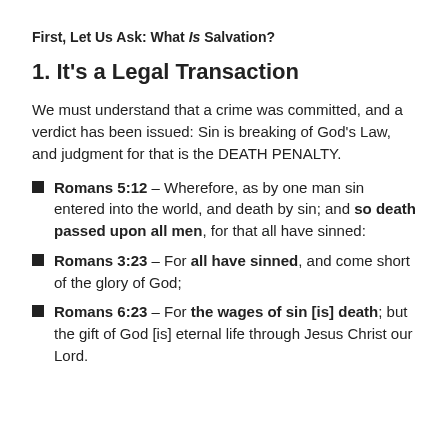First, Let Us Ask: What Is Salvation?
1. It's a Legal Transaction
We must understand that a crime was committed, and a verdict has been issued: Sin is breaking of God's Law, and judgment for that is the DEATH PENALTY.
Romans 5:12 – Wherefore, as by one man sin entered into the world, and death by sin; and so death passed upon all men, for that all have sinned:
Romans 3:23 – For all have sinned, and come short of the glory of God;
Romans 6:23 – For the wages of sin [is] death; but the gift of God [is] eternal life through Jesus Christ our Lord.